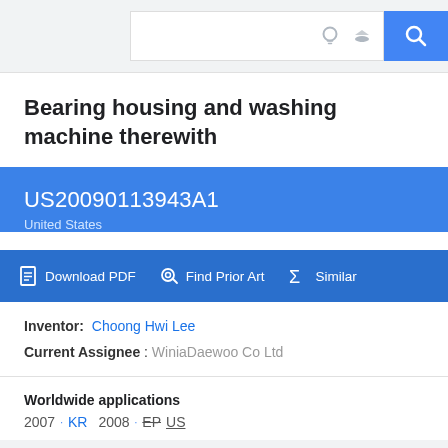Search bar with icons
Bearing housing and washing machine therewith
US20090113943A1
United States
Download PDF  Find Prior Art  Similar
Inventor: Choong Hwi Lee
Current Assignee : WiniaDaewoo Co Ltd
Worldwide applications
2007 · KR  2008 · EP US